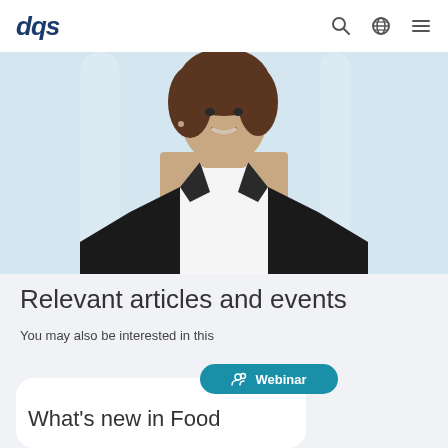dqs
[Figure (photo): Professional woman with short brown hair wearing a black blazer and white shirt, smiling, against a light blue background]
Relevant articles and events
You may also be interested in this
[Figure (other): Webinar badge/pill button with person group icon and text 'Webinar']
What's new in Food